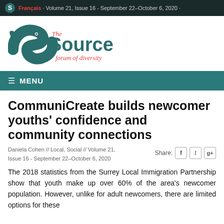Français · Volume 21, Issue 16 - September 22–October 6, 2020 ·
[Figure (logo): The Source - forum of diversity logo with teal fish/letter S graphic]
≡ MENU
CommuniCreate builds newcomer youths' confidence and community connections
Daniela Cohen // Local, Social // Volume 21, Issue 16 - September 22–October 6, 2020
The 2018 statistics from the Surrey Local Immigration Partnership show that youth make up over 60% of the area's newcomer population. However, unlike for adult newcomers, there are limited options for these